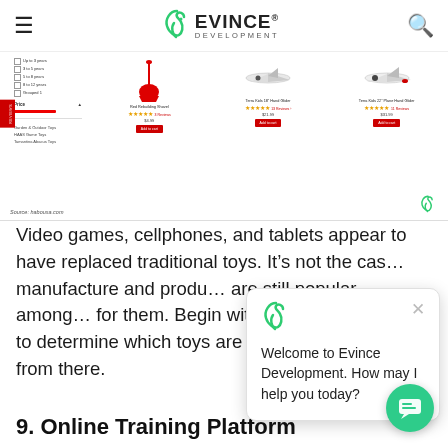≡  EVINCE® DEVELOPMENT  🔍
[Figure (screenshot): Screenshot of a toy e-commerce website (habousa.com) showing product filters sidebar, a red shovel and two glider airplane products with star ratings, prices, and Add to Cart buttons]
Video games, cellphones, and tablets appear to have replaced traditional toys. It's not the case with the manufacture and production. Traditional toys are still popular among children—there's a market for them. Begin with a bit of investment to determine which toys are popular and expand from there.
9. Online Training Platform